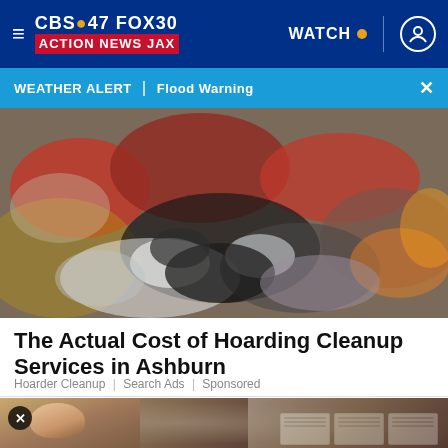[Figure (screenshot): CBS47 FOX30 Action News Jax navigation bar with hamburger menu, logo, WATCH button with orange dot, vertical divider, and user profile icon, all on dark blue background]
[Figure (screenshot): Weather alert bar in blue reading: WEATHER ALERT | Flood Warning with an X close button on the right]
[Figure (photo): Photograph of a large pile of cluttered hoarding items including clothing, stuffed animals, bags, and miscellaneous household objects]
The Actual Cost of Hoarding Cleanup Services in Ashburn
Hoarder Cleanup | Search Ads | Sponsored
[Figure (photo): Partial photo of a person holding up playing cards or ID cards, with an X close button overlay in top left corner]